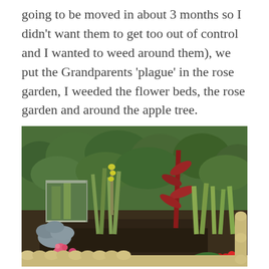going to be moved in about 3 months so I didn't want them to get too out of control and I wanted to weed around them), we put the Grandparents 'plague' in the rose garden, I weeded the flower beds, the rose garden and around the apple tree.
[Figure (photo): A garden flower bed with iris plants, a tall reddish plant stem, pink flowering plants, silvery-leafed plants, yellow-flowering tall plants, a galvanized metal container, edged with tan scalloped border stones, with dense green shrubs/hedge in the background.]